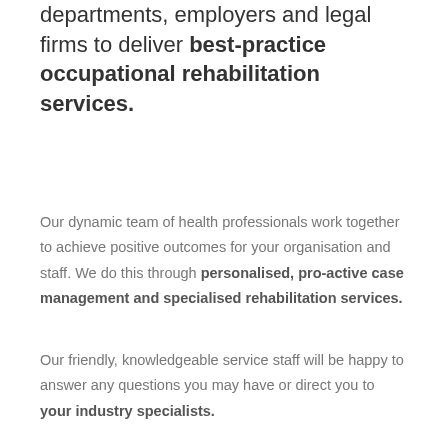departments, employers and legal firms to deliver best-practice occupational rehabilitation services.
Our dynamic team of health professionals work together to achieve positive outcomes for your organisation and staff. We do this through personalised, pro-active case management and specialised rehabilitation services.
Our friendly, knowledgeable service staff will be happy to answer any questions you may have or direct you to your industry specialists.